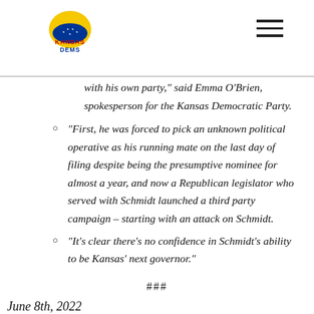Kansas Dems logo and navigation menu
with his own party,” said Emma O’Brien, spokesperson for the Kansas Democratic Party.
“First, he was forced to pick an unknown political operative as his running mate on the last day of filing despite being the presumptive nominee for almost a year, and now a Republican legislator who served with Schmidt launched a third party campaign – starting with an attack on Schmidt.
“It’s clear there’s no confidence in Schmidt’s ability to be Kansas’ next governor.”
###
June 8th, 2022